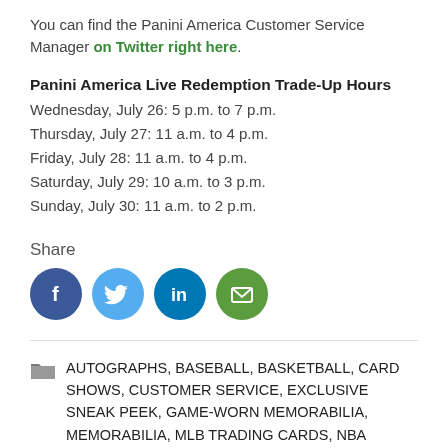You can find the Panini America Customer Service Manager on Twitter right here.
Panini America Live Redemption Trade-Up Hours
Wednesday, July 26: 5 p.m. to 7 p.m.
Thursday, July 27: 11 a.m. to 4 p.m.
Friday, July 28: 11 a.m. to 4 p.m.
Saturday, July 29: 10 a.m. to 3 p.m.
Sunday, July 30: 11 a.m. to 2 p.m.
Share
[Figure (infographic): Social share icons: Facebook, Twitter, LinkedIn, Email]
AUTOGRAPHS, BASEBALL, BASKETBALL, CARD SHOWS, CUSTOMER SERVICE, EXCLUSIVE SNEAK PEEK, GAME-WORN MEMORABILIA, MEMORABILIA, MLB TRADING CARDS, NBA TRADING CARDS, NFL TRADING CARDS, PANINI AMERICA, REDEMPTION CARDS, ROOKIE CARDS, SPORTS CARDS, THE